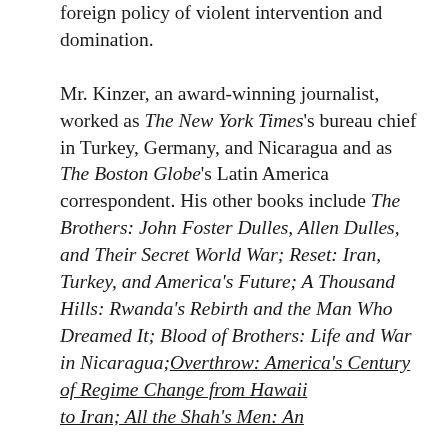foreign policy of violent intervention and domination.

Mr. Kinzer, an award-winning journalist, worked as The New York Times's bureau chief in Turkey, Germany, and Nicaragua and as The Boston Globe's Latin America correspondent. His other books include The Brothers: John Foster Dulles, Allen Dulles, and Their Secret World War; Reset: Iran, Turkey, and America's Future; A Thousand Hills: Rwanda's Rebirth and the Man Who Dreamed It; Blood of Brothers: Life and War in Nicaragua; Overthrow: America's Century of Regime Change from Hawaii to Iran; All the Shah's Men: An